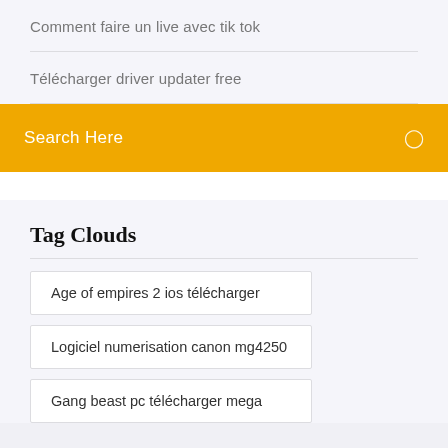Comment faire un live avec tik tok
Télécharger driver updater free
Search Here
Tag Clouds
Age of empires 2 ios télécharger
Logiciel numerisation canon mg4250
Gang beast pc télécharger mega